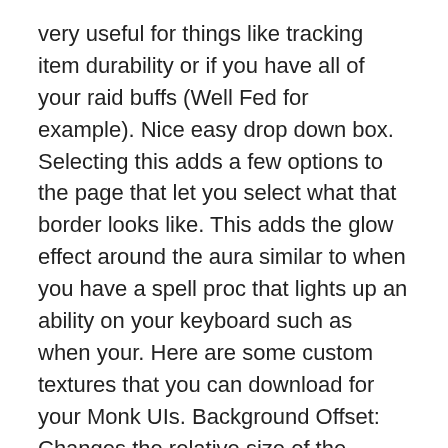very useful for things like tracking item durability or if you have all of your raid buffs (Well Fed for example). Nice easy drop down box. Selecting this adds a few options to the page that let you select what that border looks like. This adds the glow effect around the aura similar to when you have a spell proc that lights up an ability on your keyboard such as when your. Here are some custom textures that you can download for your Monk UIs. Background Offset: Changes the relative size of the background texture in comparison to the foreground texture. Sticky Duration: This setting forces a max duration on the Aura. If you mouseover it the specifics are there but we'll come back to this a bit later. Weak Auras is a really incredibly powerful addon, enabling users to create custom alerts for pretty much anything they want to see. Another way to prevent getting this page in the future is to use Privacy Pass. 3.0.6 (2020-11-09). vi apparirà una finestra nella quale dovrete incollare il lungo codice che trovate QUI sul